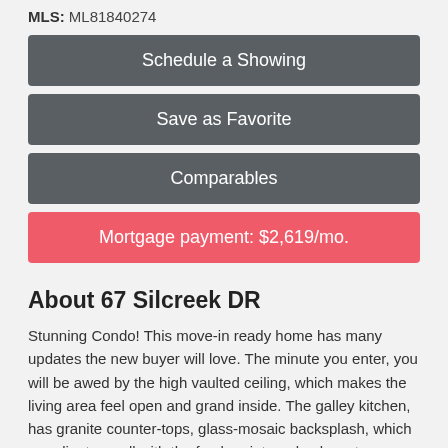MLS: ML81840274
Schedule a Showing
Save as Favorite
Comparables
Mortgage payment: $2,619/mo.
About 67 Silcreek DR
Stunning Condo! This move-in ready home has many updates the new buyer will love. The minute you enter, you will be awed by the high vaulted ceiling, which makes the living area feel open and grand inside. The galley kitchen, has granite counter-tops, glass-mosaic backsplash, which coordinates well with the fresh paint, and oak custom cabinetry. The breakfast bar has extra seating space, which allows you to cook, and chat with guest as your prepping a